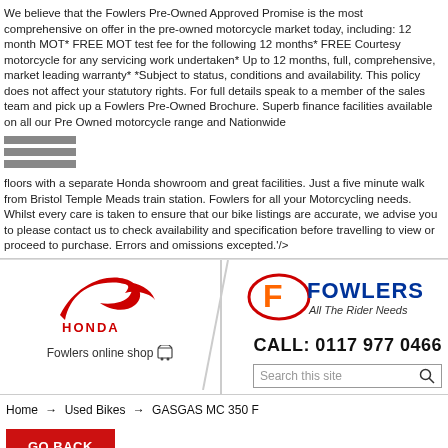We believe that the Fowlers Pre-Owned Approved Promise is the most comprehensive on offer in the pre-owned motorcycle market today, including: 12 month MOT* FREE MOT test fee for the following 12 months* FREE Courtesy motorcycle for any servicing work undertaken* Up to 12 months, full, comprehensive, market leading warranty* *Subject to status, conditions and availability. This policy does not affect your statutory rights. For full details speak to a member of the sales team and pick up a Fowlers Pre-Owned Brochure. Superb finance facilities available on all our Pre Owned motorcycle range and Nationwide
floors with a separate Honda showroom and great facilities. Just a five minute walk from Bristol Temple Meads train station. Fowlers for all your Motorcycling needs. Whilst every care is taken to ensure that our bike listings are accurate, we advise you to please contact us to check availability and specification before travelling to view or proceed to purchase. Errors and omissions excepted.'/>
[Figure (logo): Honda wing logo with HONDA text]
Fowlers online shop
[Figure (logo): Fowlers All The Rider Needs logo]
CALL: 0117 977 0466
Search this site
Home → Used Bikes → GASGAS MC 350 F
GO BACK
GASGAS MC 350 F